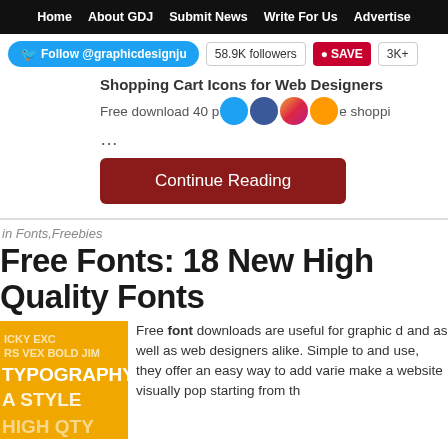Home | About GDJ | Submit News | Write For Us | Advertise
Follow @graphicdesignju  58.9K followers  SAVE  3K+
Shopping Cart Icons for Web Designers
Free download 40 p[icons]e shopping ...
Continue Reading
in Fonts,Freebies
Free Fonts: 18 New High Quality Fonts
Free font downloads are useful for graphic d and as well as web designers alike. Simple to and use, they offer an easy way to add varie make a website visually pop starting from th